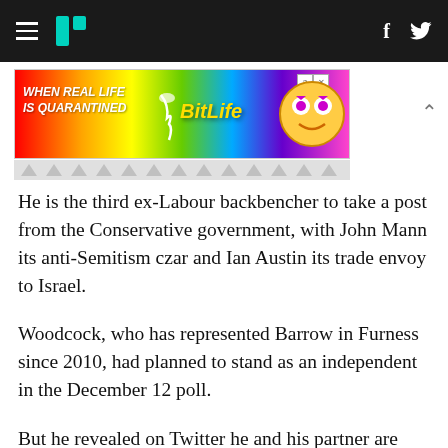HuffPost navigation bar with hamburger menu, logo, Facebook and Twitter icons
[Figure (screenshot): BitLife advertisement banner: 'WHEN REAL LIFE IS QUARANTINED' with rainbow background and BitLife logo]
He is the third ex-Labour backbencher to take a post from the Conservative government, with John Mann its anti-Semitism czar and Ian Austin its trade envoy to Israel.
Woodcock, who has represented Barrow in Furness since 2010, had planned to stand as an independent in the December 12 poll.
But he revealed on Twitter he and his partner are